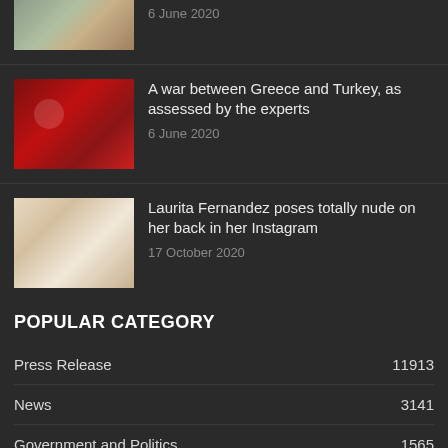[Figure (photo): Partial news thumbnail at top of page]
6 June 2020
[Figure (photo): Man in suit gesturing, Turkish flag in background]
A war between Greece and Turkey, as assessed by the experts
6 June 2020
[Figure (photo): Blonde woman posing]
Laurita Fernandez poses totally nude on her back in her Instagram
17 October 2020
POPULAR CATEGORY
| Category | Count |
| --- | --- |
| Press Release | 11913 |
| News | 3141 |
| Government and Politics | 1565 |
| Foreign Affairs | 848 |
| Conflicts, Military and War | 820 |